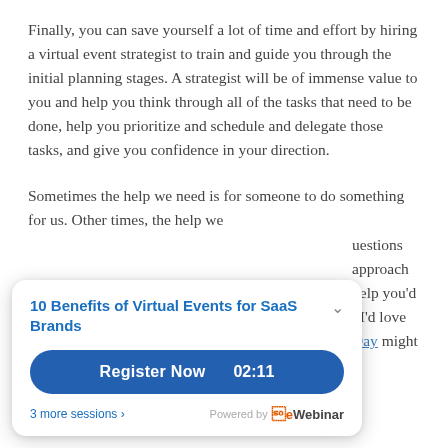Finally, you can save yourself a lot of time and effort by hiring a virtual event strategist to train and guide you through the initial planning stages. A strategist will be of immense value to you and help you think through all of the tasks that need to be done, help you prioritize and schedule and delegate those tasks, and give you confidence in your direction.
Sometimes the help we need is for someone to do something for us. Other times, the help we [need is for someone to answer our questions and help us approach things…] help you'd [like…]. I'd love [to…] Day might
[Figure (infographic): A popup webinar registration widget with title '10 Benefits of Virtual Events for SaaS Brands', a blue 'Register Now 02:11' button, '3 more sessions >' link, and 'Powered by eWebinar' footer.]